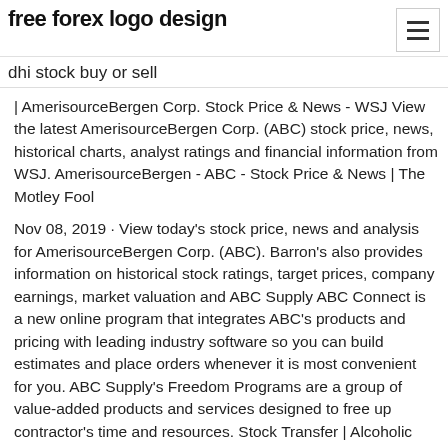free forex logo design
dhi stock buy or sell
| AmerisourceBergen Corp. Stock Price & News - WSJ View the latest AmerisourceBergen Corp. (ABC) stock price, news, historical charts, analyst ratings and financial information from WSJ. AmerisourceBergen - ABC - Stock Price & News | The Motley Fool
Nov 08, 2019 · View today's stock price, news and analysis for AmerisourceBergen Corp. (ABC). Barron's also provides information on historical stock ratings, target prices, company earnings, market valuation and ABC Supply ABC Connect is a new online program that integrates ABC's products and pricing with leading industry software so you can build estimates and place orders whenever it is most convenient for you. ABC Supply's Freedom Programs are a group of value-added products and services designed to free up contractor's time and resources. Stock Transfer | Alcoholic Beverage Control ABC-256- LLC: Limited Liability Company Questionnaire. persons